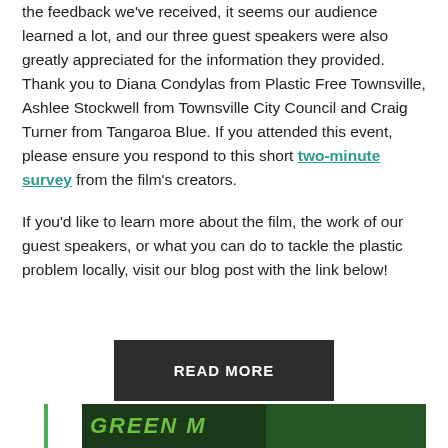the feedback we've received, it seems our audience learned a lot, and our three guest speakers were also greatly appreciated for the information they provided. Thank you to Diana Condylas from Plastic Free Townsville, Ashlee Stockwell from Townsville City Council and Craig Turner from Tangaroa Blue. If you attended this event, please ensure you respond to this short two-minute survey from the film's creators.
If you'd like to learn more about the film, the work of our guest speakers, or what you can do to tackle the plastic problem locally, visit our blog post with the link below!
READ MORE
[Figure (photo): Bottom strip showing a dark green background with text 'GREEN' in green stylized letters, partially visible, with foliage in the background.]